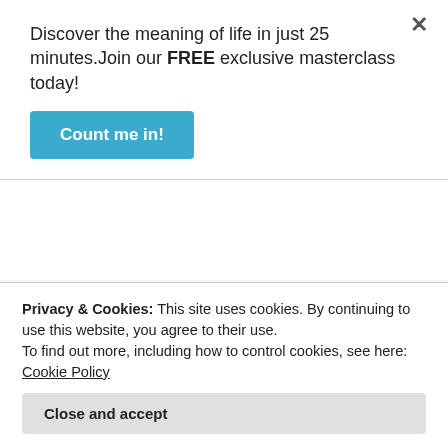Discover the meaning of life in just 25 minutes.Join our FREE exclusive masterclass today!
Count me in!
Nicea – Deuteronomy 6.4 “YHWH, Elohuino, YHWH, echad” = “God, God, God, 1” Now read the B.C Jewish Zohar commentary by Raya Mehemna 43b – “These three are one. The threefold Divine Manifestations which yet form one unity”
Privacy & Cookies: This site uses cookies. By continuing to use this website, you agree to their use.
To find out more, including how to control cookies, see here: Cookie Policy
Close and accept